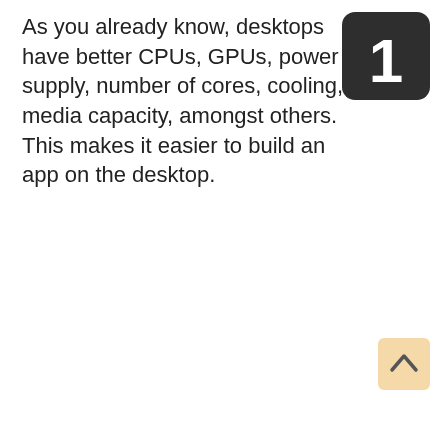As you already know, desktops have better CPUs, GPUs, power supply, number of cores, cooling, media capacity, amongst others. This makes it easier to build an app on the desktop.
[Figure (other): Dark rounded square badge with large white number 1]
[Figure (other): Light tan/peach rounded square button with an upward chevron arrow icon]